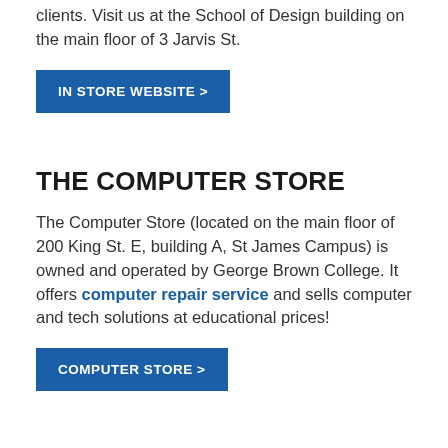clients. Visit us at the School of Design building on the main floor of 3 Jarvis St.
IN STORE WEBSITE >
THE COMPUTER STORE
The Computer Store (located on the main floor of 200 King St. E, building A, St James Campus) is owned and operated by George Brown College. It offers computer repair service and sells computer and tech solutions at educational prices!
COMPUTER STORE >
CAMPUS SERVICES
Emergency Contacts